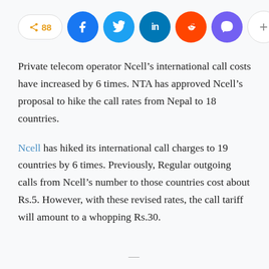[Figure (infographic): Social share bar with share count (88), Facebook, Twitter, LinkedIn, Reddit, Viber, and more (+) buttons]
Private telecom operator Ncell’s international call costs have increased by 6 times. NTA has approved Ncell’s proposal to hike the call rates from Nepal to 18 countries.
Ncell has hiked its international call charges to 19 countries by 6 times. Previously, Regular outgoing calls from Ncell’s number to those countries cost about Rs.5. However, with these revised rates, the call tariff will amount to a whopping Rs.30.